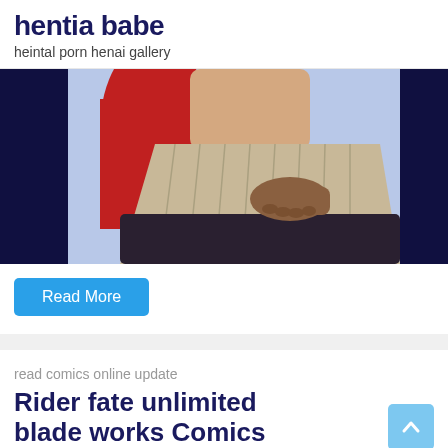hentia babe
heintal porn henai gallery
[Figure (illustration): Anime/hentai style illustration showing a female character in a pleated skirt with a hand reaching under it, dark background with blue and red tones]
Read More
read comics online update
Rider fate unlimited blade works Comics